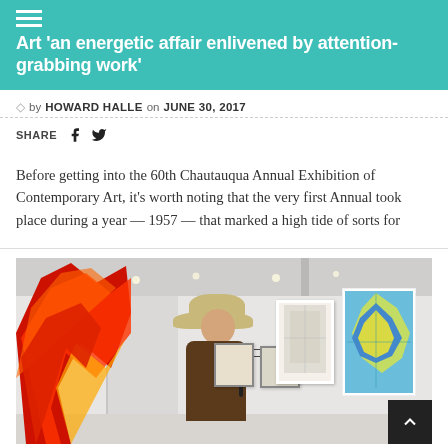Art 'an energetic affair enlivened by attention-grabbing work'
by HOWARD HALLE on JUNE 30, 2017
SHARE
Before getting into the 60th Chautauqua Annual Exhibition of Contemporary Art, it's worth noting that the very first Annual took place during a year — 1957 — that marked a high tide of sorts for
[Figure (photo): Gallery interior with a person wearing a wide-brimmed hat examining framed artworks on a white wall. A red geometric sculpture is visible on the left, and blue/yellow artworks hang on the right wall.]